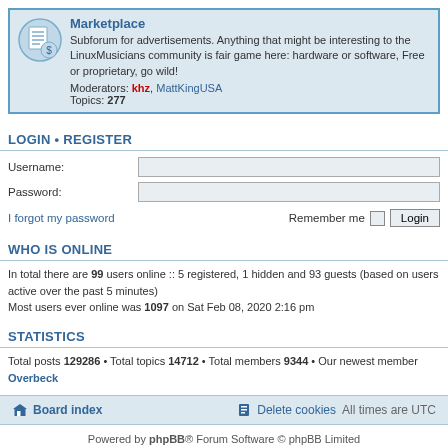[Figure (infographic): Marketplace forum card with icon showing a document list, title 'Marketplace', description text, moderators (khz, MattKingUSA), and topic count (277)]
LOGIN • REGISTER
Username:
Password:
I forgot my password   Remember me  Login
WHO IS ONLINE
In total there are 99 users online :: 5 registered, 1 hidden and 93 guests (based on users active over the past 5 minutes)
Most users ever online was 1097 on Sat Feb 08, 2020 2:16 pm
STATISTICS
Total posts 129286 • Total topics 14712 • Total members 9344 • Our newest member Overbeck
Board index   Delete cookies   All times are UTC
Powered by phpBB® Forum Software © phpBB Limited
Privacy | Terms